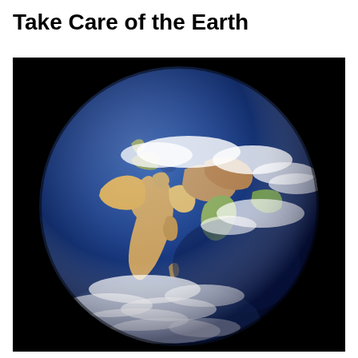Take Care of the Earth
[Figure (photo): Satellite photograph of Earth from space showing the Eastern Hemisphere — Africa, Europe, the Middle East, Asia, and the Indian Ocean — against a black background. The globe is visible with blue oceans, brown and tan landmasses, white cloud formations, and green vegetation.]